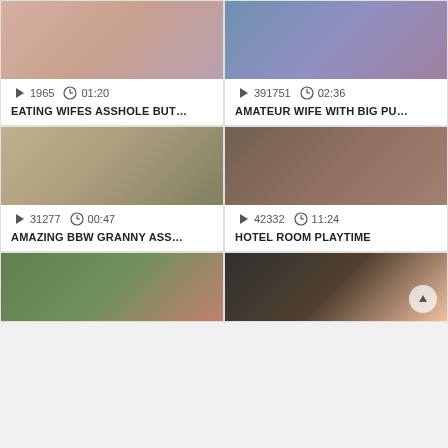[Figure (screenshot): Video thumbnail 1 - top left, partial view]
1965  01:20
EATING WIFES ASSHOLE BUT...
[Figure (screenshot): Video thumbnail 2 - top right, partial view]
391751  02:36
AMATEUR WIFE WITH BIG PU...
[Figure (screenshot): Video thumbnail 3 - middle left, bbw granny]
31277  00:47
AMAZING BBW GRANNY ASS...
[Figure (screenshot): Video thumbnail 4 - middle right, hotel room]
42332  11:24
HOTEL ROOM PLAYTIME
[Figure (screenshot): Video thumbnail 5 - bottom left, outdoor]
[Figure (screenshot): Video thumbnail 6 - bottom right, close up]